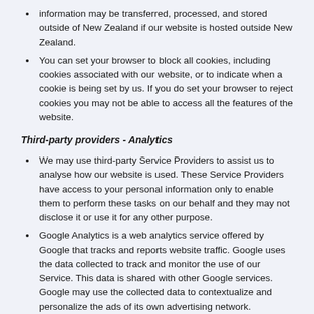information may be transferred, processed, and stored outside of New Zealand if our website is hosted outside New Zealand.
You can set your browser to block all cookies, including cookies associated with our website, or to indicate when a cookie is being set by us. If you do set your browser to reject cookies you may not be able to access all the features of the website.
Third-party providers - Analytics
We may use third-party Service Providers to assist us to analyse how our website is used. These Service Providers have access to your personal information only to enable them to perform these tasks on our behalf and they may not disclose it or use it for any other purpose.
Google Analytics is a web analytics service offered by Google that tracks and reports website traffic. Google uses the data collected to track and monitor the use of our Service. This data is shared with other Google services. Google may use the collected data to contextualize and personalize the ads of its own advertising network.